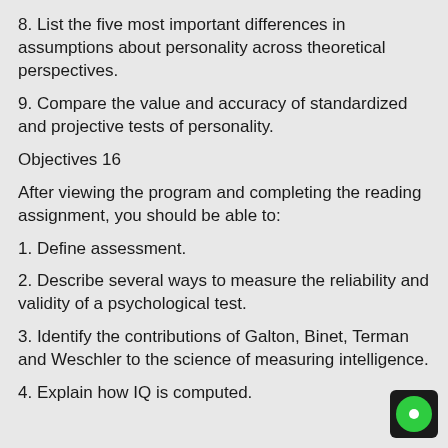8. List the five most important differences in assumptions about personality across theoretical perspectives.
9. Compare the value and accuracy of standardized and projective tests of personality.
Objectives 16
After viewing the program and completing the reading assignment, you should be able to:
1. Define assessment.
2. Describe several ways to measure the reliability and validity of a psychological test.
3. Identify the contributions of Galton, Binet, Terman and Weschler to the science of measuring intelligence.
4. Explain how IQ is computed.